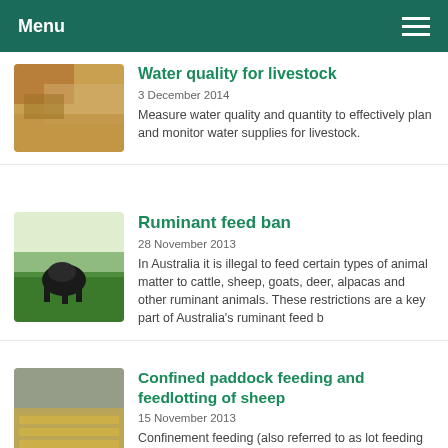Menu
Water quality for livestock
3 December 2014
Measure water quality and quantity to effectively plan and monitor water supplies for livestock.
Ruminant feed ban
28 November 2013
In Australia it is illegal to feed certain types of animal matter to cattle, sheep, goats, deer, alpacas and other ruminant animals. These restrictions are a key part of Australia's ruminant feed b
Confined paddock feeding and feedlotting of sheep
15 November 2013
Confinement feeding (also referred to as lot feeding or feedlotting) is an intensive feeding system in a